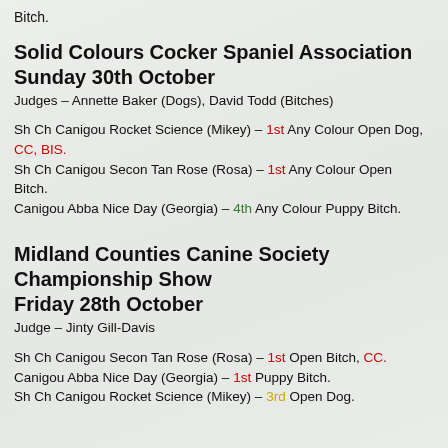Bitch.
Solid Colours Cocker Spaniel Association Sunday 30th October
Judges – Annette Baker (Dogs), David Todd (Bitches)
Sh Ch Canigou Rocket Science (Mikey) – 1st Any Colour Open Dog, CC, BIS.
Sh Ch Canigou Secon Tan Rose (Rosa) – 1st Any Colour Open Bitch.
Canigou Abba Nice Day (Georgia) – 4th Any Colour Puppy Bitch.
Midland Counties Canine Society Championship Show Friday 28th October
Judge – Jinty Gill-Davis
Sh Ch Canigou Secon Tan Rose (Rosa) – 1st Open Bitch, CC.
Canigou Abba Nice Day (Georgia) – 1st Puppy Bitch.
Sh Ch Canigou Rocket Science (Mikey) – 3rd Open Dog.